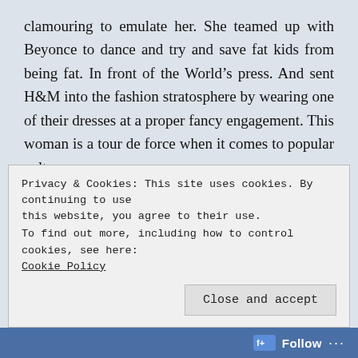clamouring to emulate her. She teamed up with Beyonce to dance and try and save fat kids from being fat. In front of the World's press. And sent H&M into the fashion stratosphere by wearing one of their dresses at a proper fancy engagement. This woman is a tour de force when it comes to popular culture.
This woman is an important part of the make up of America. She's a woman who's got her own career behind her and isn't just coasting along with her rich husband while fannying around with paperclips and ring binders on the side. Michelle Obama has her
Privacy & Cookies: This site uses cookies. By continuing to use this website, you agree to their use.
To find out more, including how to control cookies, see here:
Cookie Policy
Close and accept
Follow ···